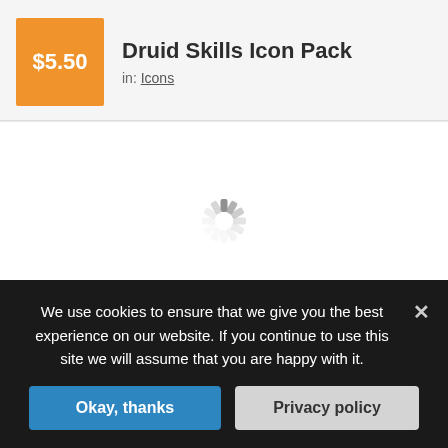$5.50
Druid Skills Icon Pack
in: Icons
[Figure (illustration): Loading spinner icon centered in white image area]
We use cookies to ensure that we give you the best experience on our website. If you continue to use this site we will assume that you are happy with it.
Okay, thanks
Privacy policy